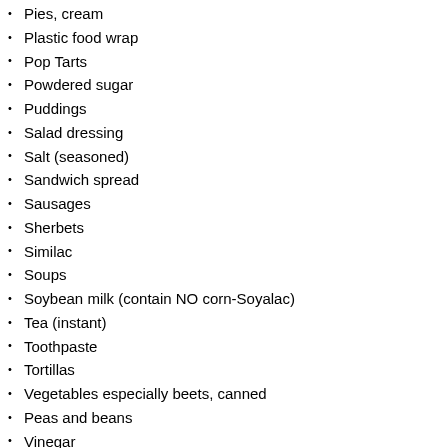Pies, cream
Plastic food wrap
Pop Tarts
Powdered sugar
Puddings
Salad dressing
Salt (seasoned)
Sandwich spread
Sausages
Sherbets
Similac
Soups
Soybean milk (contain NO corn-Soyalac)
Tea (instant)
Toothpaste
Tortillas
Vegetables especially beets, canned
Peas and beans
Vinegar
Vitamins
Wieners
Yeast